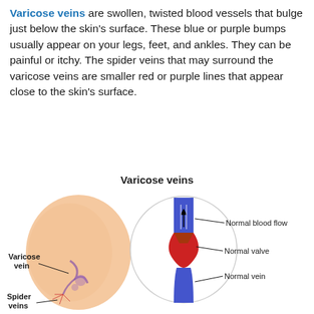Varicose veins are swollen, twisted blood vessels that bulge just below the skin's surface. These blue or purple bumps usually appear on your legs, feet, and ankles. They can be painful or itchy. The spider veins that may surround the varicose veins are smaller red or purple lines that appear close to the skin's surface.
Varicose veins
[Figure (illustration): Medical illustration showing a leg with varicose vein and spider veins labeled, alongside a magnified cross-section diagram showing normal blood flow, normal valve, and normal vein in a blue vein with red blood flow area.]